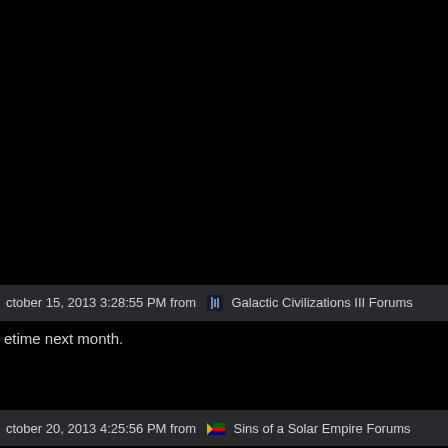ctober 15, 2013 3:28:55 PM from  Galactic Civilizations III Forums
etime next month.
ctober 20, 2013 4:25:56 PM from  Sins of a Solar Empire Forums